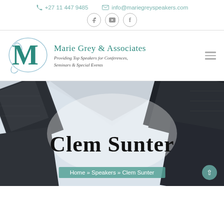+27 11 447 9485   info@mariegreyspeakers.com
[Figure (logo): Marie Grey & Associates logo with stylized M in teal and script, with text 'Marie Grey & Associates / Providing Top Speakers for Conferences, Seminars & Special Events']
Clem Sunter
Home » Speakers » Clem Sunter